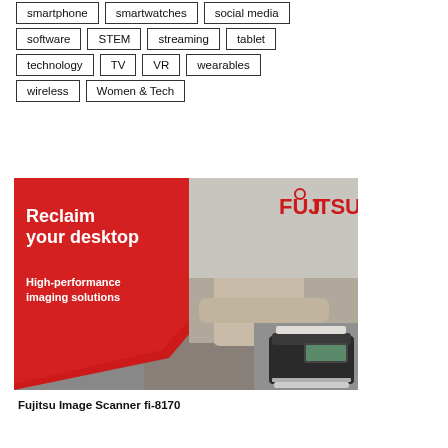smartphone
smartwatches
social media
software
STEM
streaming
tablet
technology
TV
VR
wearables
wireless
Women & Tech
[Figure (photo): Fujitsu advertisement showing a stressed woman surrounded by paper stacks, a Fujitsu fi-8170 scanner, red panel with 'Reclaim your desktop' and 'High-performance imaging solutions' text, and Fujitsu logo.]
Fujitsu Image Scanner fi-8170